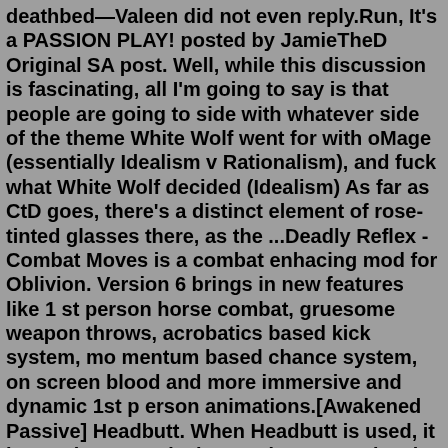deathbed—Valeen did not even reply.Run, It's a PASSION PLAY! posted by JamieTheD Original SA post. Well, while this discussion is fascinating, all I'm going to say is that people are going to side with whatever side of the theme White Wolf went for with oMage (essentially Idealism v Rationalism), and fuck what White Wolf decided (Idealism) As far as CtD goes, there's a distinct element of rose-tinted glasses there, as the ...Deadly Reflex - Combat Moves is a combat enhacing mod for Oblivion. Version 6 brings in new features like 1 st person horse combat, gruesome weapon throws, acrobatics based kick system, mo mentum based chance system, on screen blood and more immersive and dynamic 1st p erson animations.[Awakened Passive] Headbutt. When Headbutt is used, it has a chance to deal great damage and make the enemy Vulnerable. Sting Breezer. Magic Spear's explosion can now be controlled more actively with Flag Sign which allows Magic Spear to be exploded at a desired location. Additionally, Poking Beehive is enhanced. Flag Sign (Active)Thriller